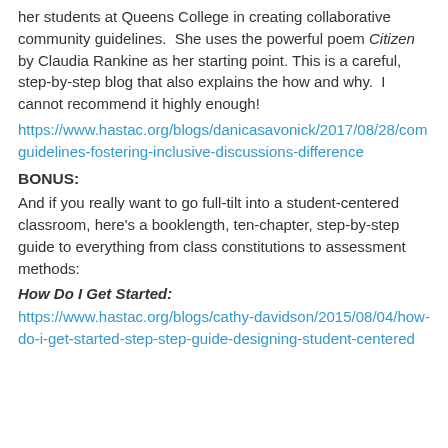her students at Queens College in creating collaborative community guidelines.  She uses the powerful poem Citizen by Claudia Rankine as her starting point. This is a careful, step-by-step blog that also explains the how and why.  I cannot recommend it highly enough!
https://www.hastac.org/blogs/danicasavonick/2017/08/28/com guidelines-fostering-inclusive-discussions-difference
BONUS:
And if you really want to go full-tilt into a student-centered classroom, here's a booklength, ten-chapter, step-by-step guide to everything from class constitutions to assessment methods:
How Do I Get Started:
https://www.hastac.org/blogs/cathy-davidson/2015/08/04/how-do-i-get-started-step-step-guide-designing-student-centered